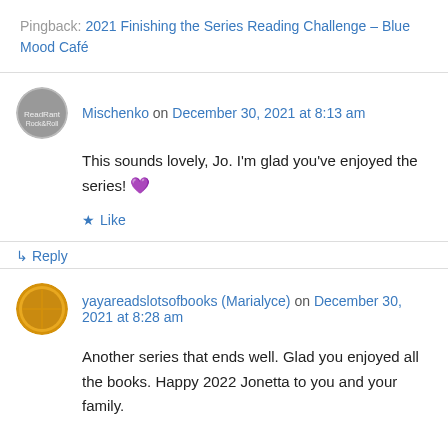Pingback: 2021 Finishing the Series Reading Challenge – Blue Mood Café
Mischenko on December 30, 2021 at 8:13 am
This sounds lovely, Jo. I'm glad you've enjoyed the series! 💜
Like
↳ Reply
yayareadslotsofbooks (Marialyce) on December 30, 2021 at 8:28 am
Another series that ends well. Glad you enjoyed all the books. Happy 2022 Jonetta to you and your family.